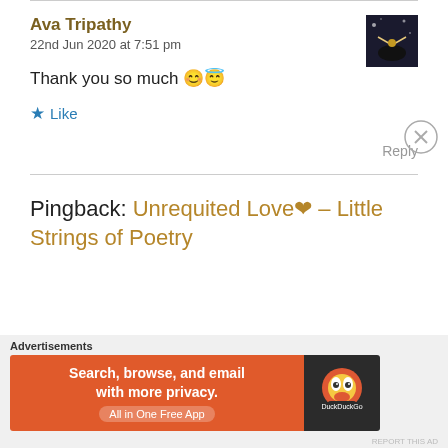Ava Tripathy
22nd Jun 2020 at 7:51 pm
[Figure (photo): Small thumbnail photo of a silhouette against a dark background]
Thank you so much 😊😇
★ Like
Reply
Pingback: Unrequited Love❤ – Little Strings of Poetry
Advertisements
[Figure (screenshot): DuckDuckGo advertisement banner: Search, browse, and email with more privacy. All in One Free App]